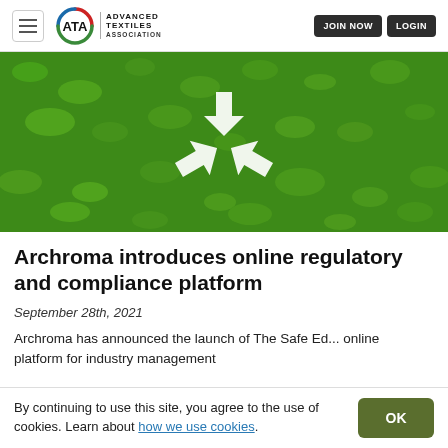ATA | ADVANCED TEXTILES ASSOCIATION — JOIN NOW  LOGIN
[Figure (photo): Green mossy background with a white recycling symbol (three arrows forming a triangle) placed on top]
Archroma introduces online regulatory and compliance platform
September 28th, 2021
Archroma has announced the launch of The Safe Ed... online platform for industry management
By continuing to use this site, you agree to the use of cookies. Learn about how we use cookies.